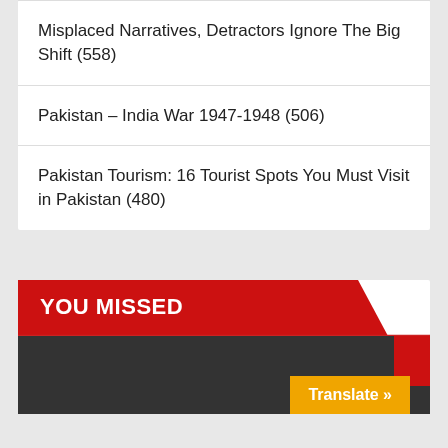Misplaced Narratives, Detractors Ignore The Big Shift (558)
Pakistan – India War 1947-1948 (506)
Pakistan Tourism: 16 Tourist Spots You Must Visit in Pakistan (480)
YOU MISSED
[Figure (photo): Dark image placeholder at bottom of page with red corner accent]